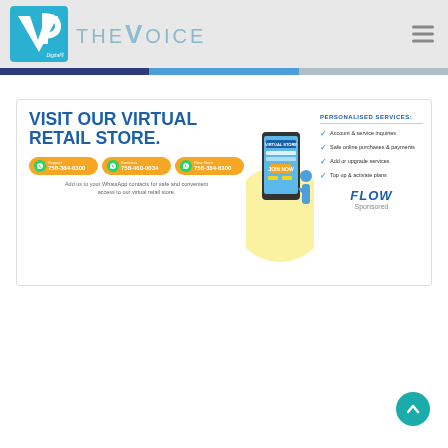VP Digital - The Voice
[Figure (infographic): Flow telecom advertisement: VISIT OUR VIRTUAL RETAIL STORE. Three WhatsApp contact buttons with phone numbers 758-384-0300, 758-440-0034, 758-384-8300. Personalized services listed: Account & service inquiries, Safe online purchases & payments, Add or upgrade services, Top up & activate plans. FLOW logo and Sponsored label.]